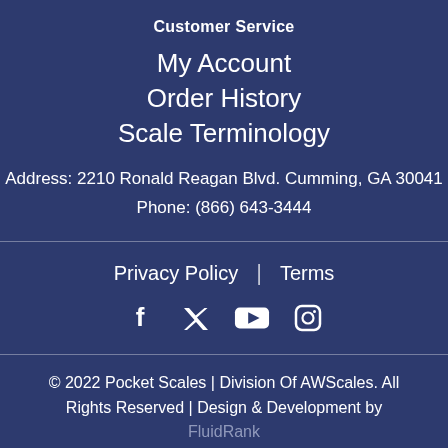Customer Service
My Account
Order History
Scale Terminology
Address: 2210 Ronald Reagan Blvd. Cumming, GA 30041
Phone: (866) 643-3444
Privacy Policy | Terms
[Figure (other): Social media icons: Facebook, Twitter, YouTube, Instagram]
© 2022 Pocket Scales | Division Of AWScales. All Rights Reserved | Design & Development by FluidRank